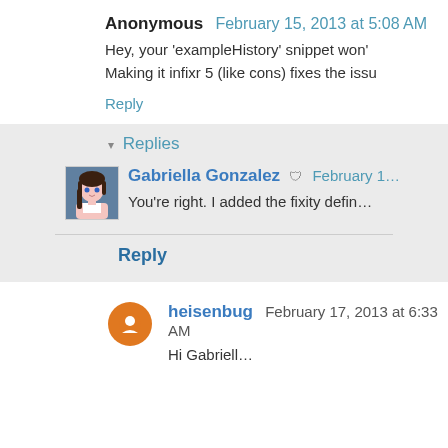Anonymous February 15, 2013 at 5:08 AM
Hey, your 'exampleHistory' snippet won't ... Making it infixr 5 (like cons) fixes the issu...
Reply
Replies
Gabriella Gonzalez  February 1...
You're right. I added the fixity defin...
Reply
heisenbug February 17, 2013 at 6:33 AM
Hi Gabriell...